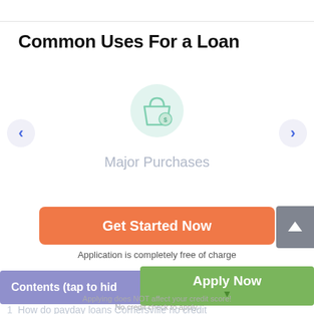Common Uses For a Loan
[Figure (illustration): Carousel slide showing a shopping bag with dollar sign icon on a light blue/mint circular background, labeled 'Major Purchases'. Left and right navigation arrows on sides.]
Get Started Now
Application is completely free of charge
Contents (tap to hide)
Apply Now
Applying does NOT affect your credit score! No credit check to apply.
1  How do payday loans Cornersville no credit